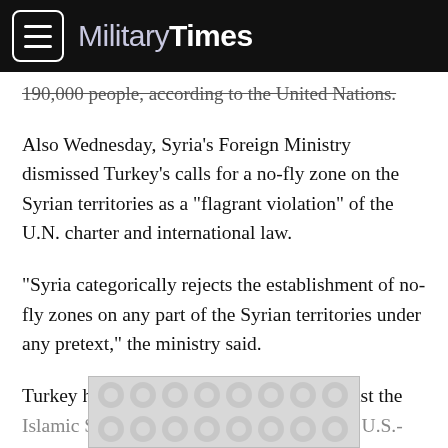MilitaryTimes
190,000 people, according to the United Nations.
Also Wednesday, Syria's Foreign Ministry dismissed Turkey's calls for a no-fly zone on the Syrian territories as a "flagrant violation" of the U.N. charter and international law.
"Syria categorically rejects the establishment of no-fly zones on any part of the Syrian territories under any pretext," the ministry said.
Turkey has said it won't join the fight against the Islamic State extremists in Syria unless the U.S.-led
[Figure (other): Advertisement banner with decorative dot/circle pattern in light grey]